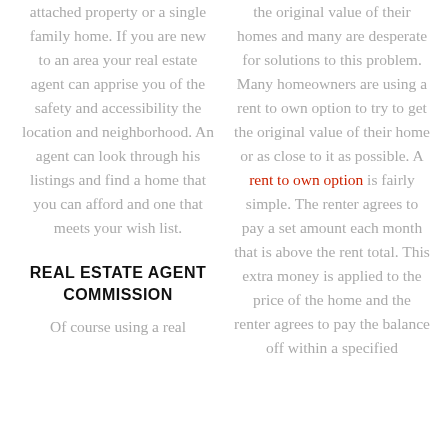attached property or a single family home. If you are new to an area your real estate agent can apprise you of the safety and accessibility the location and neighborhood. An agent can look through his listings and find a home that you can afford and one that meets your wish list.
REAL ESTATE AGENT COMMISSION
Of course using a real
the original value of their homes and many are desperate for solutions to this problem. Many homeowners are using a rent to own option to try to get the original value of their home or as close to it as possible. A rent to own option is fairly simple. The renter agrees to pay a set amount each month that is above the rent total. This extra money is applied to the price of the home and the renter agrees to pay the balance off within a specified